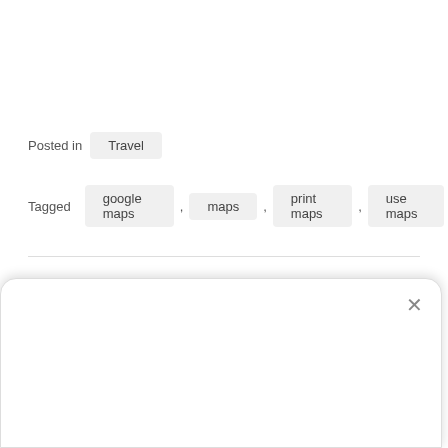Posted in   Travel
Tagged   google maps , maps , print maps , use maps
East Africa: Places to Go for
Travel 101: Tips for a Better Trip